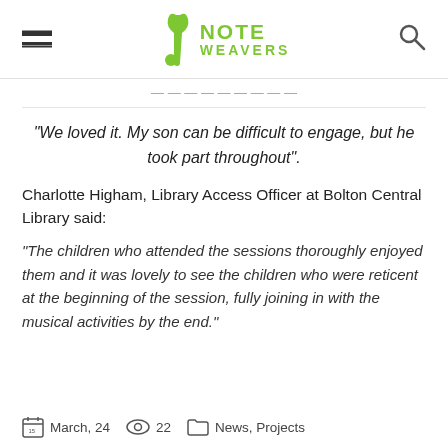[Figure (logo): NoteWeavers logo with musical note icon and green text]
“We loved it. My son can be difficult to engage, but he took part throughout".
Charlotte Higham, Library Access Officer at Bolton Central Library said:
“The children who attended the sessions thoroughly enjoyed them and it was lovely to see the children who were reticent at the beginning of the session, fully joining in with the musical activities by the end.”
March, 24  22  News, Projects